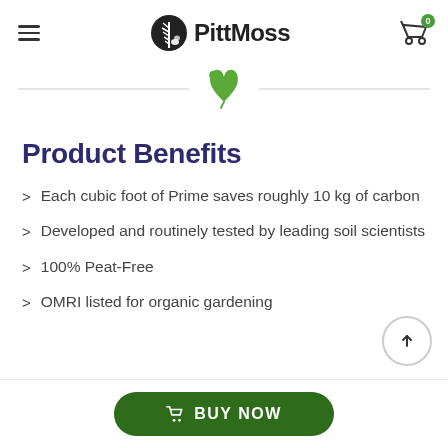PittMoss
[Figure (illustration): Green sprout/seedling icon with two leaves, above a horizontal divider line]
Product Benefits
Each cubic foot of Prime saves roughly 10 kg of carbon
Developed and routinely tested by leading soil scientists
100% Peat-Free
OMRI listed for organic gardening